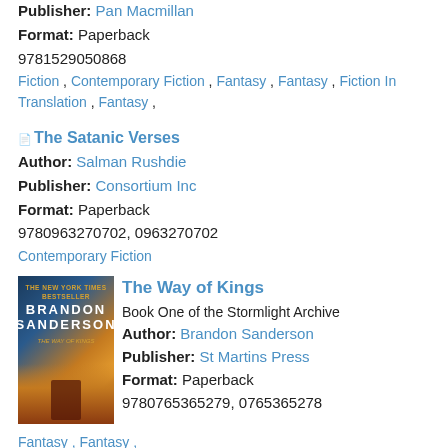Publisher: Pan Macmillan
Format: Paperback
9781529050868
Fiction , Contemporary Fiction , Fantasy , Fantasy , Fiction In Translation , Fantasy ,
The Satanic Verses
Author: Salman Rushdie
Publisher: Consortium Inc
Format: Paperback
9780963270702, 0963270702
Contemporary Fiction
[Figure (illustration): Book cover of The Way of Kings by Brandon Sanderson showing a warrior figure against a dramatic sky]
The Way of Kings
Book One of the Stormlight Archive
Author: Brandon Sanderson
Publisher: St Martins Press
Format: Paperback
9780765365279, 0765365278